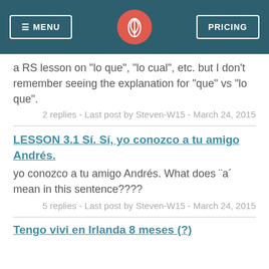MENU | [logo] | PRICING
a RS lesson on "lo que", "lo cual", etc. but I don't remember seeing the explanation for "que" vs "lo que".
2 replies - Last post by Steven-W15 - March 24, 2015
LESSON 3.1 Sí. Sí, yo conozco a tu amigo Andrés.
yo conozco a tu amigo Andrés. What does ¨a´ mean in this sentence????
5 replies - Last post by Steven-W15 - March 24, 2015
Tengo vivi en Irlanda 8 meses (?)